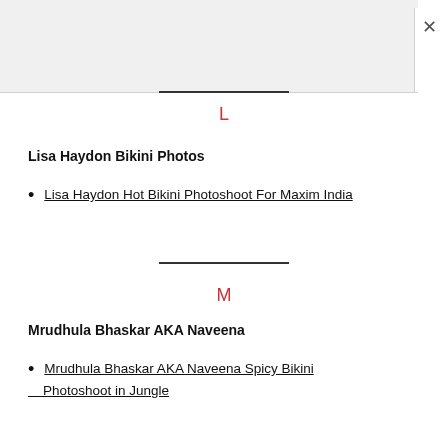[Figure (screenshot): Top gray bar area of a browser or app dialog with a horizontal rule and close (×) button]
L
Lisa Haydon Bikini Photos
Lisa Haydon Hot Bikini Photoshoot For Maxim India
M
Mrudhula Bhaskar AKA Naveena
Mrudhula Bhaskar AKA Naveena Spicy Bikini Photoshoot in Jungle